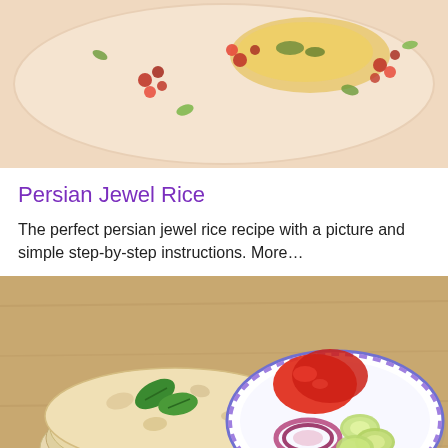[Figure (photo): Top-down view of Persian jewel rice on a light peach/cream surface with red pomegranate seeds and green pistachios scattered around.]
Persian Jewel Rice
The perfect persian jewel rice recipe with a picture and simple step-by-step instructions. More...
[Figure (photo): Stack of flatbreads (lavash) with green basil leaves on top, placed on a wooden board, next to a decorative plate with sliced tomatoes, red onion rings, and cucumber slices on a wooden table.]